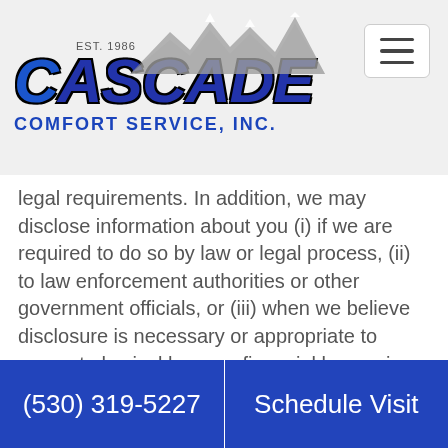[Figure (logo): Cascade Comfort Service, Inc. logo with mountain graphic, EST. 1986, and blue stylized text]
legal requirements. In addition, we may disclose information about you (i) if we are required to do so by law or legal process, (ii) to law enforcement authorities or other government officials, or (iii) when we believe disclosure is necessary or appropriate to prevent physical harm or financial loss or in connection with an investigation of suspected or actual illegal activity.
We reserve the right to transfer any information we have about you in the event we sell or transfer all or a portion of our business or assets. Should such a sale or transfer occur, we will use reasonable efforts to direct...
(530) 319-5227    Schedule Visit